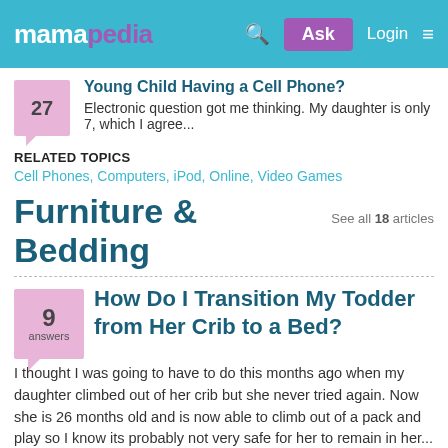mamapedia — Ask Login
Young Child Having a Cell Phone?
Electronic question got me thinking. My daughter is only 7, which I agree...
RELATED TOPICS
Cell Phones, Computers, iPod, Online, Video Games
Furniture & Bedding — See all 18 articles
How Do I Transition My Todder from Her Crib to a Bed?
I thought I was going to have to do this months ago when my daughter climbed out of her crib but she never tried again. Now she is 26 months old and is now able to climb out of a pack and play so I know its probably not very safe for her to remain in her...